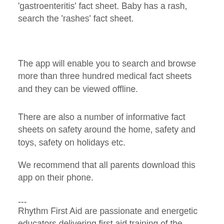'gastroenteritis' fact sheet. Baby has a rash, search the 'rashes' fact sheet.
The app will enable you to search and browse more than three hundred medical fact sheets and they can be viewed offline.
There are also a number of informative fact sheets on safety around the home, safety and toys, safety on holidays etc.
We recommend that all parents download this app on their phone.
---
Rhythm First Aid are passionate and energetic educators delivering first aid training of the highest quality in a